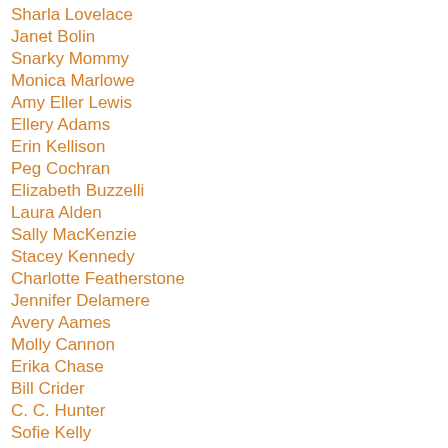Sharla Lovelace
Janet Bolin
Snarky Mommy
Monica Marlowe
Amy Eller Lewis
Ellery Adams
Erin Kellison
Peg Cochran
Elizabeth Buzzelli
Laura Alden
Sally MacKenzie
Stacey Kennedy
Charlotte Featherstone
Jennifer Delamere
Avery Aames
Molly Cannon
Erika Chase
Bill Crider
C. C. Hunter
Sofie Kelly
Annie Knox
Kim Lenox